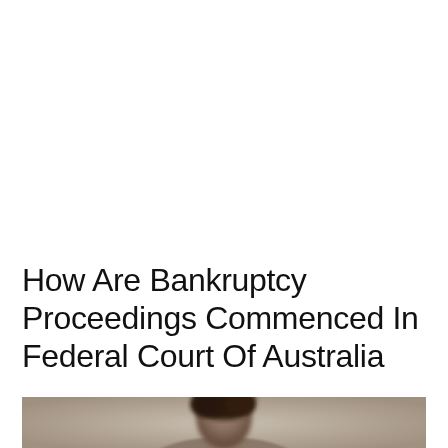How Are Bankruptcy Proceedings Commenced In Federal Court Of Australia
[Figure (photo): Partially visible photo of a person, showing the top of their head with dark hair, bottom portion of the page. Background appears blurred/neutral colored.]